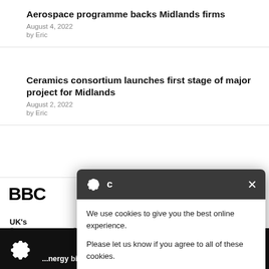Aerospace programme backs Midlands firms
August 4, 2022
by Eric
Ceramics consortium launches first stage of major project for Midlands
August 2, 2022
by Eric
[Figure (screenshot): BBC logo partially visible]
UK's ... rdinated strikes this autu...
Sola ... bills soar
[Figure (infographic): Cookie consent modal with gear icon, close button, message 'We use cookies to give you the best online experience. Please let us know if you agree to all of these cookies.', button 'I'm fine with this', links 'Information and Settings' and 'Cookie policy']
...nergy bills. Middle earners will need help with rising